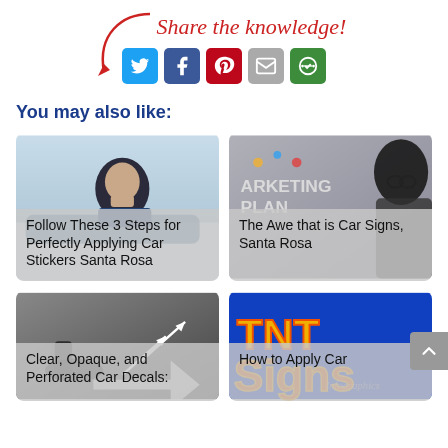[Figure (infographic): Share the knowledge! text with social share icons: Twitter, Facebook, Pinterest, Email, Copy Link. Red arrow pointing to icons.]
You may also like:
[Figure (photo): Man leaning on car looking down - article card: Follow These 3 Steps for Perfectly Applying Car Stickers Santa Rosa]
[Figure (photo): Marketing plan concept with woman - article card: The Awe that is Car Signs, Santa Rosa]
[Figure (photo): Black and white photo with arrows - article card: Clear, Opaque, and Perforated Car Decals: What's the Right for You?]
[Figure (logo): TNT Signs colorful logo - article card: How to Apply Car Decals?]